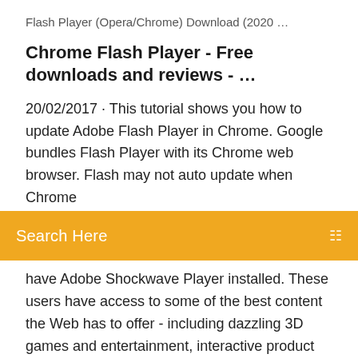Flash Player (Opera/Chrome) Download (2020 …
Chrome Flash Player - Free downloads and reviews - …
20/02/2017 · This tutorial shows you how to update Adobe Flash Player in Chrome. Google bundles Flash Player with its Chrome web browser. Flash may not auto update when Chrome
Search Here
have Adobe Shockwave Player installed. These users have access to some of the best content the Web has to offer - including dazzling 3D games and entertainment, interactive product demonstrations, and online learning applications. Shockwave Player displays Web content that has been created using Adobe Director. Comment réactiver Flash dans Google Chrome - Comment Ça … Vous utilisez Google Chrome et vous voulez continuer à consulter les contenus en Flash des sites web ? Pas facile depuis la sortie de Chrome 76 et le blocage